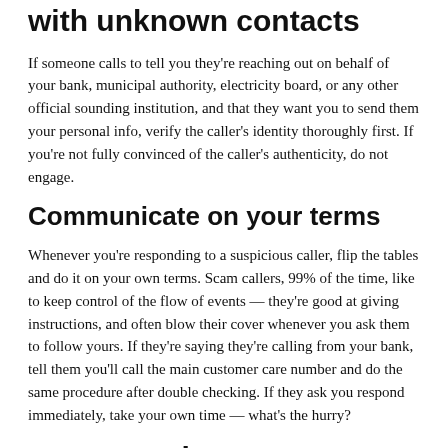Don't share personal information with unknown contacts
If someone calls to tell you they're reaching out on behalf of your bank, municipal authority, electricity board, or any other official sounding institution, and that they want you to send them your personal info, verify the caller's identity thoroughly first. If you're not fully convinced of the caller's authenticity, do not engage.
Communicate on your terms
Whenever you're responding to a suspicious caller, flip the tables and do it on your own terms. Scam callers, 99% of the time, like to keep control of the flow of events — they're good at giving instructions, and often blow their cover whenever you ask them to follow yours. If they're saying they're calling from your bank, tell them you'll call the main customer care number and do the same procedure after double checking. If they ask you respond immediately, take your own time — what's the hurry?
Never send money to